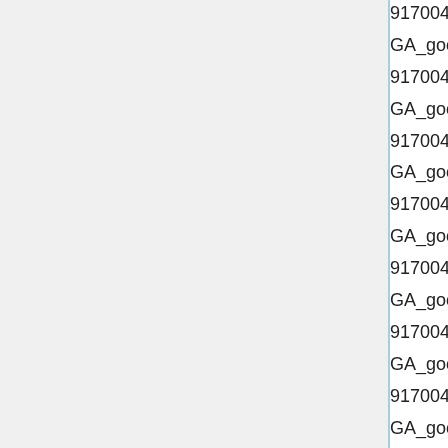9170045421997827", "Politiki3");
GA_googleAddSlot("ca-pub-9170045421997827", "Politiki4");
GA_googleAddSlot("ca-pub-9170045421997827", "Politiki5");
GA_googleAddSlot("ca-pub-9170045421997827", "politiki6");
GA_googleAddSlot("ca-pub-9170045421997827", "Politiki7");
GA_googleAddSlot("ca-pub-9170045421997827", "Politiki9");
GA_googleAddSlot("ca-pub-9170045421997827", "Texnologia1");
GA_googleAddSlot("ca-pub-9170045421997827", "Texnologia10");
GA_googleAddSlot("ca-pub-9170045421997827", "Texnologia2");
GA_googleAddSlot("ca-pub-9170045421997827", "Texnologia3");
GA_googleAddSlot("ca-pub-